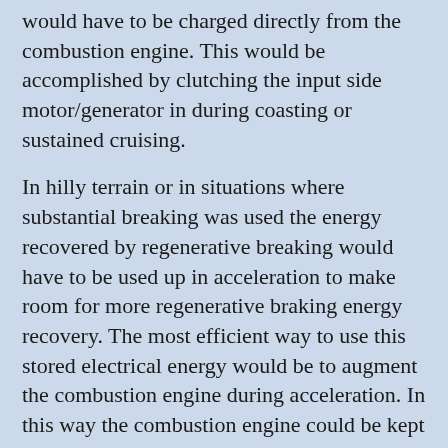would have to be charged directly from the combustion engine. This would be accomplished by clutching the input side motor/generator in during coasting or sustained cruising.
In hilly terrain or in situations where substantial breaking was used the energy recovered by regenerative breaking would have to be used up in acceleration to make room for more regenerative braking energy recovery. The most efficient way to use this stored electrical energy would be to augment the combustion engine during acceleration. In this way the combustion engine could be kept at lower engine speeds where it could most efficiently provide relatively small amounts of power. If the combustion engine were a port injected gasoline engine though it might make sense to use substantial amounts of the energy recovered from regenerative breaking to provide for slow cruising and light acceleration with the engine completely shut down. The gasoline engine would then only be started